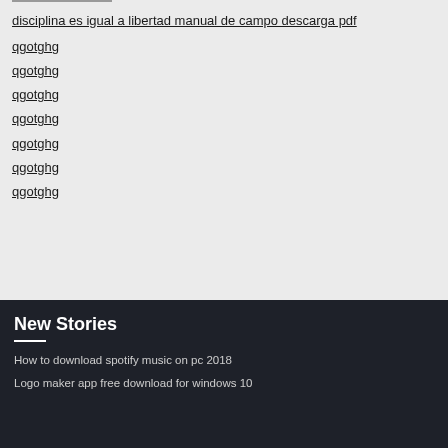disciplina es igual a libertad manual de campo descarga pdf
qgotghg
qgotghg
qgotghg
qgotghg
qgotghg
qgotghg
qgotghg
New Stories
How to download spotify music on pc 2018
Logo maker app free download for windows 10